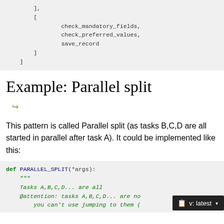],
[
    check_mandatory_fields,
    check_preferred_values,
    save_record
]
]
Example: Parallel split
[Figure (illustration): Broken image placeholder icon with green arrow]
This pattern is called Parallel split (as tasks B,C,D are all started in parallel after task A). It could be implemented like this:
def PARALLEL_SPLIT(*args):
    """
    Tasks A,B,C,D... are all 
    @attention: tasks A,B,C,D... are no
        you can't use jumping to them (